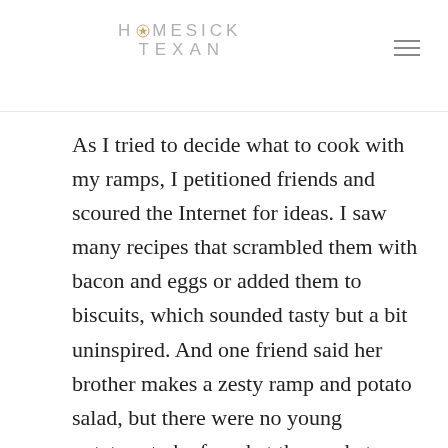HOMESICK TEXAN
As I tried to decide what to cook with my ramps, I petitioned friends and scoured the Internet for ideas. I saw many recipes that scrambled them with bacon and eggs or added them to biscuits, which sounded tasty but a bit uninspired. And one friend said her brother makes a zesty ramp and potato salad, but there were no young potatoes to be found at the market when I shopped.
But lately I've been slightly obsessed with